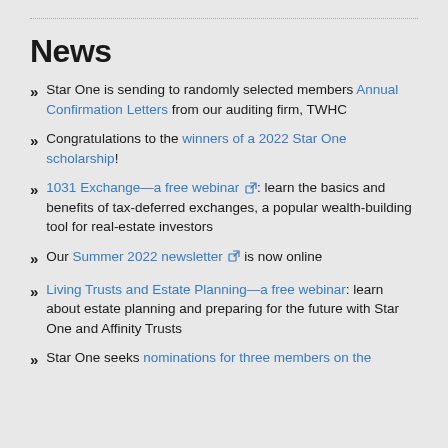News
Star One is sending to randomly selected members Annual Confirmation Letters from our auditing firm, TWHC
Congratulations to the winners of a 2022 Star One scholarship!
1031 Exchange—a free webinar : learn the basics and benefits of tax-deferred exchanges, a popular wealth-building tool for real-estate investors
Our Summer 2022 newsletter is now online
Living Trusts and Estate Planning—a free webinar: learn about estate planning and preparing for the future with Star One and Affinity Trusts
Star One seeks nominations for three members on the